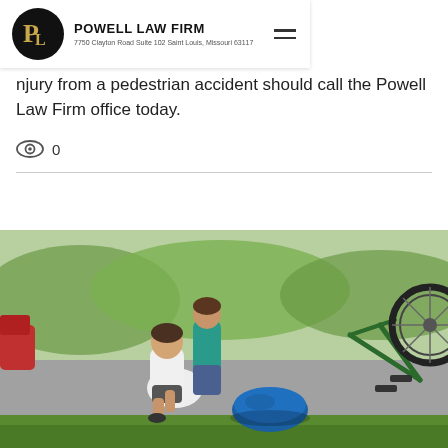POWELL LAW FIRM — 7750 Clayton Road Suite 102 Saint Louis, Missouri 63117
injury from a pedestrian accident should call the Powell Law Firm office today.
0
[Figure (photo): A bicycle accident scene on a road: a young man in a white shirt sits on the pavement holding his knee in pain, a woman in teal bends over to help him, and a bicycle lies overturned on the road with a blue helmet on the ground in the foreground.]